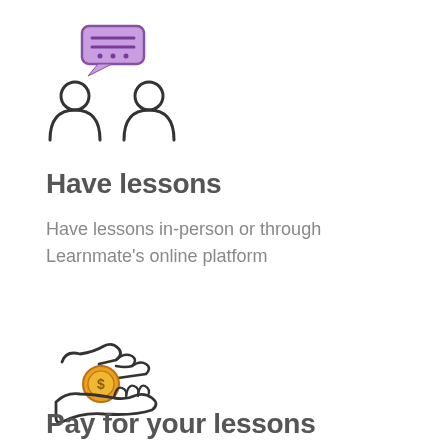[Figure (illustration): Hand-drawn icon of two people with a purple speech/chat bubble above them, representing lesson or communication]
Have lessons
Have lessons in-person or through Learnmate's online platform
[Figure (illustration): Hand-drawn icon of two hands exchanging a gold coin with a dollar sign, representing payment]
Pay for your lessons